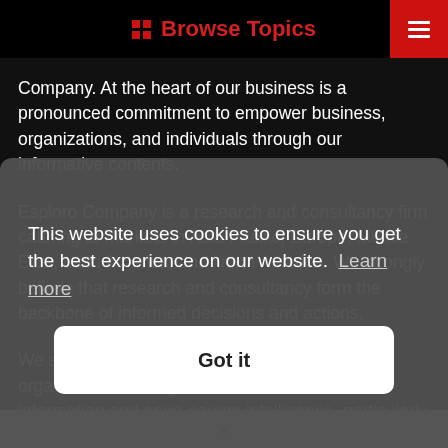Browse Topics
Company. At the heart of our business is a pronounced commitment to empower business, organizations, and individuals through our informative contents.
Esploro Company is a research and consultancy firm catering to markets in Asia-Pacific, Europe, Middle East, Latin America, and North America. We strongly believe that research and consultancy form the backbone of informed decisions and actions.
We are dedicated to empower individuals and organizations through the dissemination of information and open-source intelligence, particularly through our range of research, content, and consultancy services delivered across several lines of bus... tha... com...
This website uses cookies to ensure you get the best experience on our website. Learn more
Got it